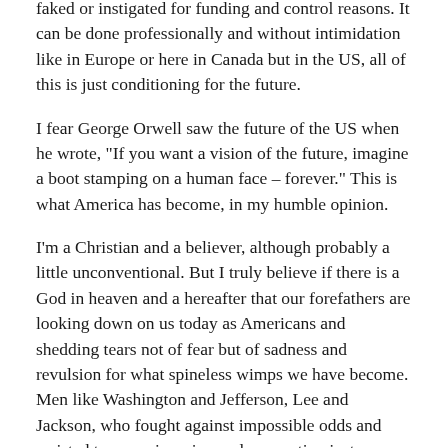faked or instigated for funding and control reasons. It can be done professionally and without intimidation like in Europe or here in Canada but in the US, all of this is just conditioning for the future.
I fear George Orwell saw the future of the US when he wrote, "If you want a vision of the future, imagine a boot stamping on a human face – forever." This is what America has become, in my humble opinion.
I'm a Christian and a believer, although probably a little unconventional. But I truly believe if there is a God in heaven and a hereafter that our forefathers are looking down on us today as Americans and shedding tears not of fear but of sadness and revulsion for what spineless wimps we have become. Men like Washington and Jefferson, Lee and Jackson, who fought against impossible odds and resisted tyranny, invasion and occupation just because they thought they were right must wonder whether it was worth the effort.